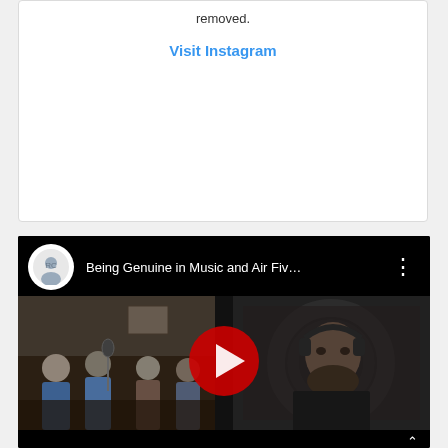removed.
Visit Instagram
[Figure (screenshot): YouTube video embed showing 'Being Genuine in Music and Air Fiv...' with channel avatar, video thumbnail split-view of a recording studio scene with multiple people on the left and a person on the right, and a red YouTube play button in the center]